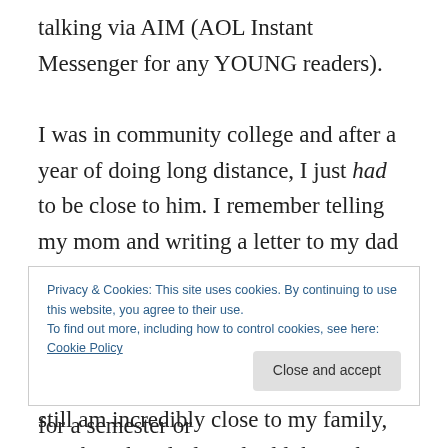talking via AIM (AOL Instant Messenger for any YOUNG readers).
I was in community college and after a year of doing long distance, I just had to be close to him. I remember telling my mom and writing a letter to my dad that I was going to move to Northern California to be with him and finish school.  That was an emotional experience, to say the least. I was and still am incredibly close to my family, so when their little girl told them she was
Privacy & Cookies: This site uses cookies. By continuing to use this website, you agree to their use.
To find out more, including how to control cookies, see here: Cookie Policy
years. I was supposed to only live there for a semester or